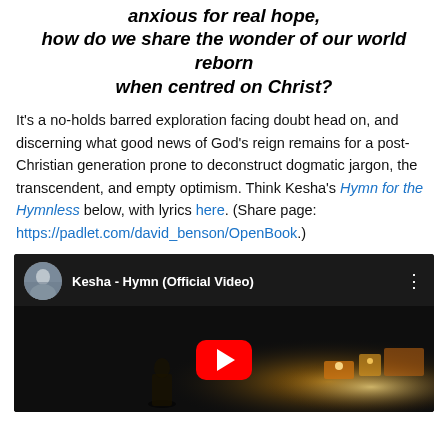anxious for real hope, how do we share the wonder of our world reborn when centred on Christ?
It's a no-holds barred exploration facing doubt head on, and discerning what good news of God's reign remains for a post-Christian generation prone to deconstruct dogmatic jargon, the transcendent, and empty optimism. Think Kesha's Hymn for the Hymnless below, with lyrics here. (Share page: https://padlet.com/david_benson/OpenBook.)
[Figure (screenshot): YouTube embed thumbnail showing Kesha - Hymn (Official Video) with a dark concert scene, red play button, and artist avatar in top-left]